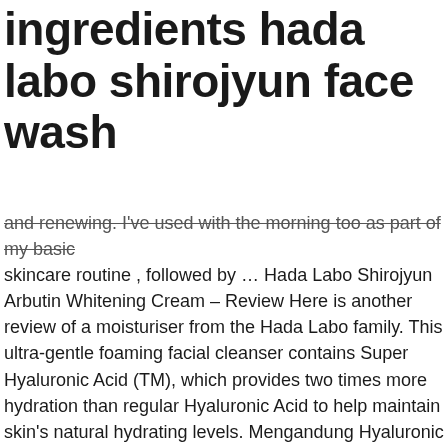ingredients hada labo shirojyun face wash
and renewing. I've used with the morning too as part of my basic skincare routine , followed by … Hada Labo Shirojyun Arbutin Whitening Cream – Review Here is another review of a moisturiser from the Hada Labo family. This ultra-gentle foaming facial cleanser contains Super Hyaluronic Acid (TM), which provides two times more hydration than regular Hyaluronic Acid to help maintain skin's natural hydrating levels. Mengandung Hyaluronic Acid untuk meningkatkan kelembaban secara intensif … harganya murce pol dibawah 40ribu dah dapet 100 ml dan ingredientsnya aman banget. PoppyKhairunnisa recommends this product! Confidence in every skin-friendly product. $8.00 shipping. Formulated with arbutin, a compound that prevents the formation of dull spots, Shirojyun Lotion clarifies and tones the skin while it moisturizes, leaving your skin brighter, softer and ready for the rest of your beauty routine. A small amount works up into a rich, foaming lather, then rinses clean—without drying out your skin. I like the fact that this cleanser is free of any fragrance, mineral oil, colorant and alcohol, so it's a good one to try even if you have sensitive skin.Like I said before, it worked well for my dry/combo skin and never left my skin feeling dry or taut